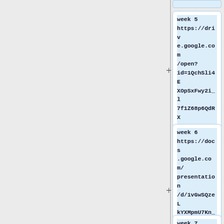week 5
https://drive.google.com/open?id=1QchSli4EXOpSxFwy2i_l7f1Z68p6QdRXwyrJ_8QTbbE
week 6
https://docs.google.com/presentation/d/1vGwSQzeLkYXMpmU7Kn_5x0xb3aMzNYj2NdTg4rfoCJk/edit?usp=sharing
week 7